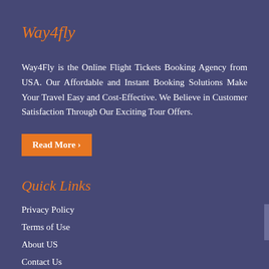Way4fly
Way4Fly is the Online Flight Tickets Booking Agency from USA. Our Affordable and Instant Booking Solutions Make Your Travel Easy and Cost-Effective. We Believe in Customer Satisfaction Through Our Exciting Tour Offers.
Read More ›
Quick Links
Privacy Policy
Terms of Use
About US
Contact Us
Sitemap
Deals